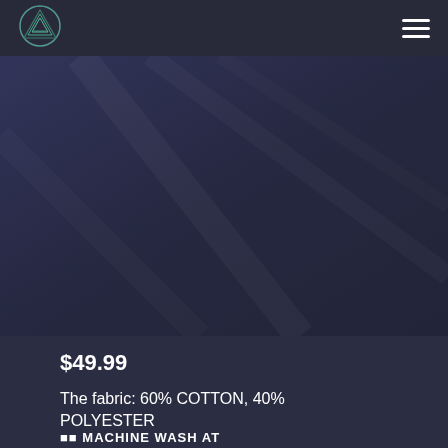[Figure (logo): Circular logo with a geometric triangle/A shape made of layered outlines in teal/green on dark background]
[Figure (photo): Dark navy/indigo background with subtle diagonal fabric or geometric folds, serving as a product hero image area]
$49.99
The fabric: 60% COTTON, 40% POLYESTER
MACHINE WASH AT